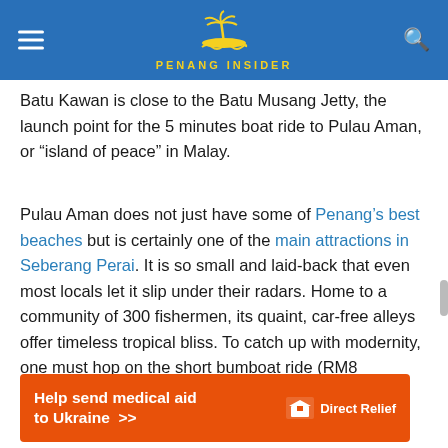PENANG INSIDER
Batu Kawan is close to the Batu Musang Jetty, the launch point for the 5 minutes boat ride to Pulau Aman, or “island of peace” in Malay.
Pulau Aman does not just have some of Penang’s best beaches but is certainly one of the main attractions in Seberang Perai. It is so small and laid-back that even most locals let it slip under their radars. Home to a community of 300 fishermen, its quaint, car-free alleys offer timeless tropical bliss. To catch up with modernity, one must hop on the short bumboat ride (RM8 roundtrip) back to the Batu Musang jetty and the mainland.
[Figure (screenshot): Direct Relief advertisement banner: orange background, white bold text 'Help send medical aid to Ukraine >>' with Direct Relief logo on the right.]